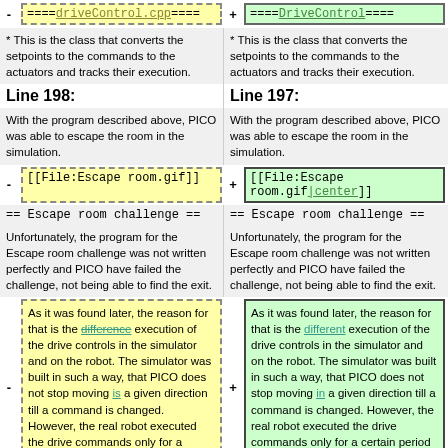- ==== driveControl.cpp ====
+ ==== DriveControl ====
* This is the class that converts the setpoints to the commands to the actuators and tracks their execution.
* This is the class that converts the setpoints to the commands to the actuators and tracks their execution.
Line 198:
Line 197:
With the program described above, PICO was able to escape the room in the simulation.
With the program described above, PICO was able to escape the room in the simulation.
- [[File:Escape room.gif]]
+ [[File:Escape room.gif|center]]
== Escape room challenge ==
== Escape room challenge ==
Unfortunately, the program for the Escape room challenge was not written perfectly and PICO have failed the challenge, not being able to find the exit.
Unfortunately, the program for the Escape room challenge was not written perfectly and PICO have failed the challenge, not being able to find the exit.
- As it was found later, the reason for that is the difference execution of the drive controls in the simulator and on the robot. The simulator was built in such a way, that PICO does not stop moving is a given direction till a command is changed. However, the real robot executed the drive commands only for a certain
+ As it was found later, the reason for that is the different execution of the drive controls in the simulator and on the robot. The simulator was built in such a way, that PICO does not stop moving in a given direction till a command is changed. However, the real robot executed the drive commands only for a certain period